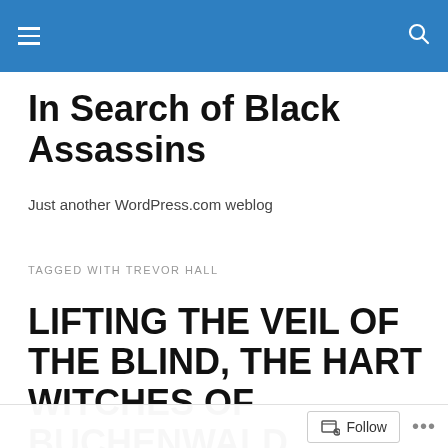In Search of Black Assassins
In Search of Black Assassins
Just another WordPress.com weblog
TAGGED WITH TREVOR HALL
LIFTING THE VEIL OF THE BLIND, THE HART WITCHES OF BUCHENWALD, KNIGHTS TEMPLAR, NINTH SATANIC CIRCLE. CHILD TRAFFICKING & NXIVM
Follow